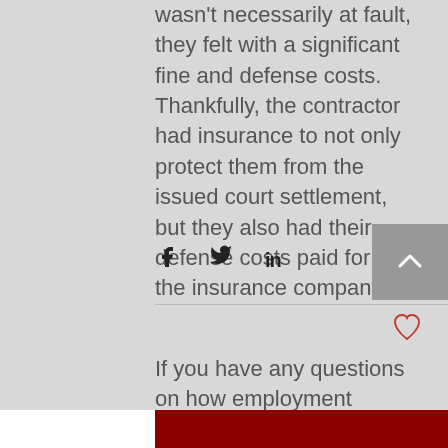wasn't necessarily at fault, they felt with a significant fine and defense costs. Thankfully, the contractor had insurance to not only protect them from the issued court settlement, but they also had their defense costs paid for by the insurance company.
If you have any questions on how employment practices liability insurance can protect your company, please feel free to contact our office.